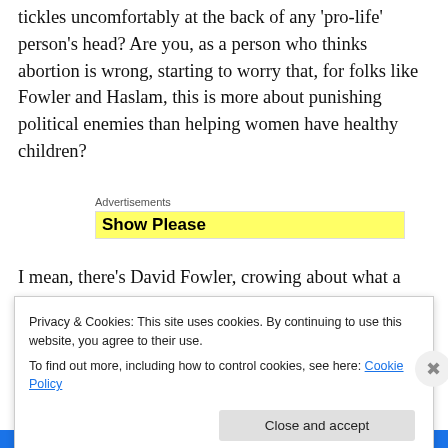tickles uncomfortably at the back of any 'pro-life' person's head? Are you, as a person who thinks abortion is wrong, starting to worry that, for folks like Fowler and Haslam, this is more about punishing political enemies than helping women have healthy children?
[Figure (other): Advertisements banner with yellow background showing 'Show Please' text partially visible]
I mean, there's David Fowler, crowing about what a great victory this is, apparently completely unbothered by people not having access to needed healthcare right now.
Privacy & Cookies: This site uses cookies. By continuing to use this website, you agree to their use.
To find out more, including how to control cookies, see here: Cookie Policy
[Close and accept]